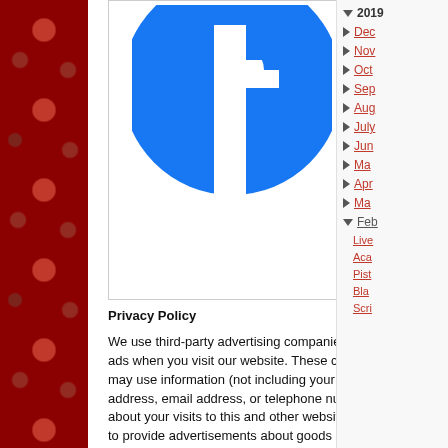[Figure (logo): Facebook logo - white F icon on blue circle, partially cropped at top]
Privacy Policy
We use third-party advertising companies to serve ads when you visit our website. These companies may use information (not including your name, address, email address, or telephone number) about your visits to this and other websites in order to provide advertisements about goods and services of interest to you. If you would like more information about this practice and to know your choices about not having this information used by these
2019
Dec
Nov
Oct
Sep
Aug
July
Jun
Ma
Apr
Ma
Feb
Live
Aca
Pist
Bla
Scri